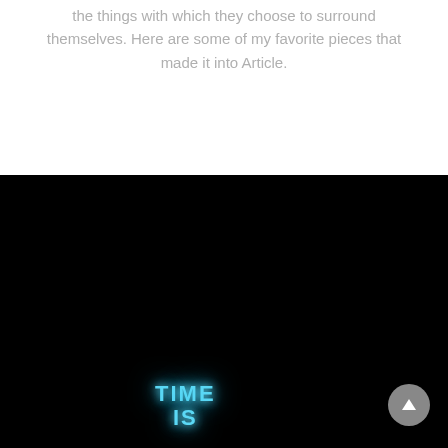the things with which they choose to surround themselves. Here are some of my favorite pieces that made it into Article.
[Figure (photo): Dark/black background photo with neon blue 'TIME IS' sign text visible in the lower center portion of the image, and a circular scroll-to-top button in the lower right corner.]